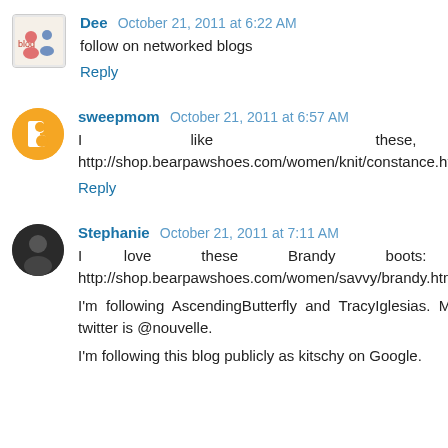Dee  October 21, 2011 at 6:22 AM
follow on networked blogs
Reply
sweepmom  October 21, 2011 at 6:57 AM
I like these, http://shop.bearpawshoes.com/women/knit/constance.html.
Reply
Stephanie  October 21, 2011 at 7:11 AM
I love these Brandy boots: http://shop.bearpawshoes.com/women/savvy/brandy.html

I'm following AscendingButterfly and TracyIglesias. My twitter is @nouvelle.

I'm following this blog publicly as kitschy on Google.